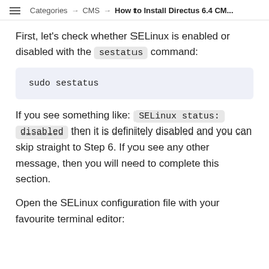Categories → CMS → How to Install Directus 6.4 CM...
First, let's check whether SELinux is enabled or disabled with the sestatus command:
sudo sestatus
If you see something like: SELinux status: disabled then it is definitely disabled and you can skip straight to Step 6. If you see any other message, then you will need to complete this section.
Open the SELinux configuration file with your favourite terminal editor: